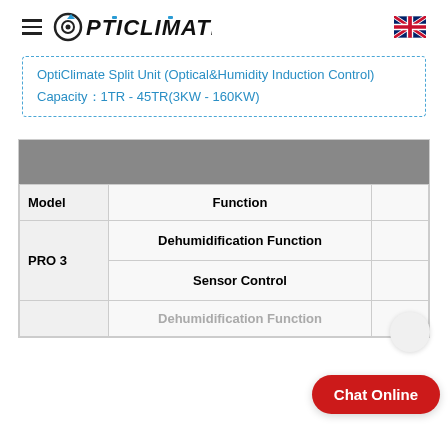OptiClimate
OptiClimate Split Unit (Optical&Humidity Induction Control)
Capacity：1TR - 45TR(3KW - 160KW)
| Model | Function |  |
| --- | --- | --- |
| PRO 3 | Dehumidification Function |  |
| PRO 3 | Sensor Control |  |
|  | Dehumidification Function |  |